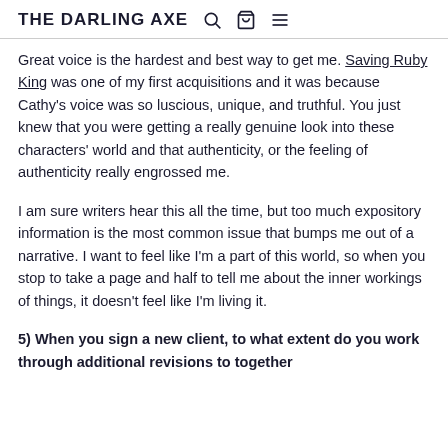THE DARLING AXE
Great voice is the hardest and best way to get me. Saving Ruby King was one of my first acquisitions and it was because Cathy's voice was so luscious, unique, and truthful. You just knew that you were getting a really genuine look into these characters' world and that authenticity, or the feeling of authenticity really engrossed me.
I am sure writers hear this all the time, but too much expository information is the most common issue that bumps me out of a narrative. I want to feel like I'm a part of this world, so when you stop to take a page and half to tell me about the inner workings of things, it doesn't feel like I'm living it.
5) When you sign a new client, to what extent do you work through additional revisions together